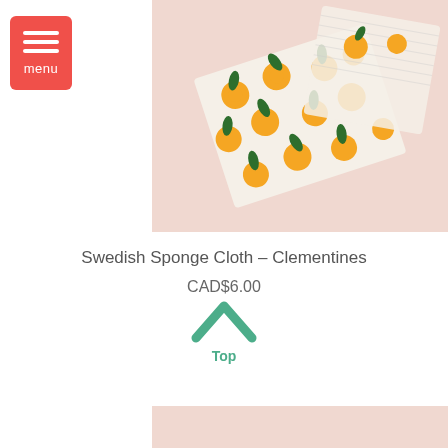[Figure (illustration): Menu button with three horizontal white lines on a coral/red background with 'menu' label]
[Figure (photo): Swedish sponge cloths with clementine/orange pattern on a light pink background]
Swedish Sponge Cloth – Clementines
CAD$6.00
[Figure (illustration): Green upward chevron arrow with 'Top' label below]
[Figure (photo): Bottom portion of another product image with pink background]